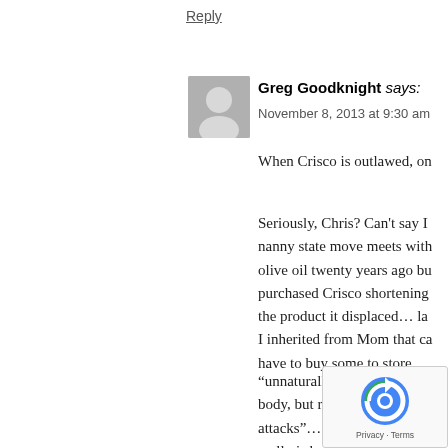Reply
Greg Goodknight says:
November 8, 2013 at 9:30 am
When Crisco is outlawed, on
Seriously, Chris? Can't say I nanny state move meets with olive oil twenty years ago bu purchased Crisco shortening the product it displaced… la I inherited from Mom that ca have to buy some to store.
“unningaturally occurring trans body, but rather c attacks”… you m really is before continuing to